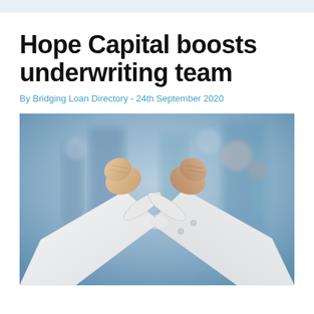Hope Capital boosts underwriting team
By Bridging Loan Directory - 24th September 2020
[Figure (photo): Two people in white long-sleeve shirts bumping elbows in celebration, with fists raised, against a blurred blue urban background.]